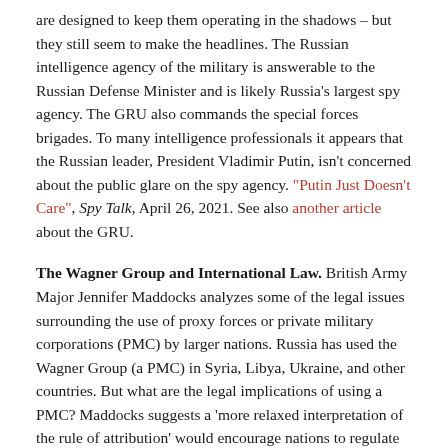are designed to keep them operating in the shadows – but they still seem to make the headlines. The Russian intelligence agency of the military is answerable to the Russian Defense Minister and is likely Russia's largest spy agency. The GRU also commands the special forces brigades. To many intelligence professionals it appears that the Russian leader, President Vladimir Putin, isn't concerned about the public glare on the spy agency. "Putin Just Doesn't Care", Spy Talk, April 26, 2021. See also another article about the GRU.
The Wagner Group and International Law. British Army Major Jennifer Maddocks analyzes some of the legal issues surrounding the use of proxy forces or private military corporations (PMC) by larger nations. Russia has used the Wagner Group (a PMC) in Syria, Libya, Ukraine, and other countries. But what are the legal implications of using a PMC? Maddocks suggests a 'more relaxed interpretation of the rule of attribution' would encourage nations to regulate the conduct of their proxy forces and promote compliance with international law. "Russia, the Wagner Group, and the Issue